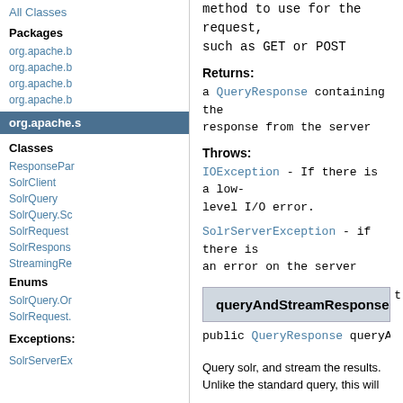method to use for the request, such as GET or POST
Returns:
a QueryResponse containing the response from the server
Throws:
IOException - If there is a low-level I/O error.
SolrServerException - if there is an error on the server
All Classes
Packages
org.apache.b
org.apache.b
org.apache.b
org.apache.b
org.apache.s
Classes
ResponsePar
SolrClient
SolrQuery
SolrQuery.Sc
SolrRequest
SolrRespons
StreamingRe
Enums
SolrQuery.Or
SolrRequest.
Exceptions:
SolrServerEx
queryAndStreamResponse
public QueryResponse queryAndStreamRes
Query solr, and stream the results. Unlike the standard query, this will